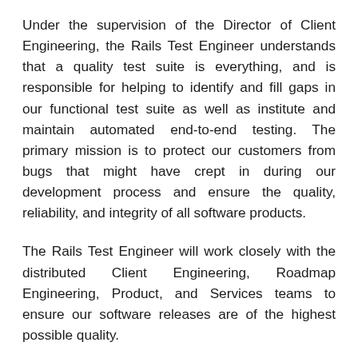Under the supervision of the Director of Client Engineering, the Rails Test Engineer understands that a quality test suite is everything, and is responsible for helping to identify and fill gaps in our functional test suite as well as institute and maintain automated end-to-end testing. The primary mission is to protect our customers from bugs that might have crept in during our development process and ensure the quality, reliability, and integrity of all software products.
The Rails Test Engineer will work closely with the distributed Client Engineering, Roadmap Engineering, Product, and Services teams to ensure our software releases are of the highest possible quality.
This position requires loads of passion for highly-usable, modern web experiences and mobile applications; a good understanding of web application